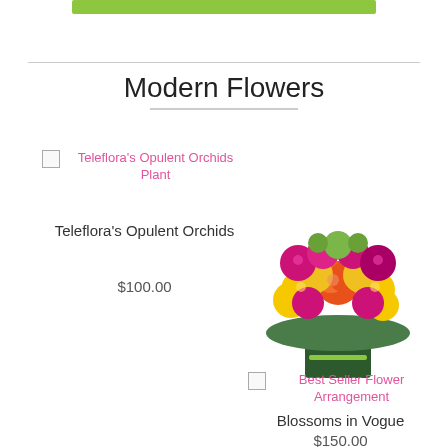[Figure (other): Green rounded rectangle button bar at top]
Modern Flowers
[Figure (other): Broken image placeholder for Teleflora's Opulent Orchids Plant with pink alt text]
Teleflora's Opulent Orchids
$100.00
[Figure (photo): Colorful flower arrangement with red, orange, yellow, and pink roses in a green cylindrical vase]
[Figure (other): Broken image placeholder for Best Seller Flower Arrangement with pink alt text]
Blossoms in Vogue
$150.00